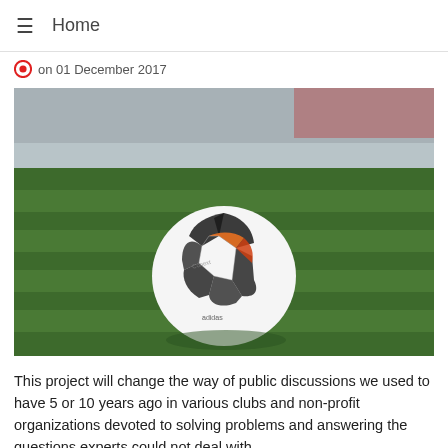Home
on 01 December 2017
[Figure (photo): Close-up photo of a white soccer/football ball with colorful markings sitting on a green grass pitch, with a blurred stadium background.]
This project will change the way of public discussions we used to have 5 or 10 years ago in various clubs and non-profit organizations devoted to solving problems and answering the questions experts could not deal with.